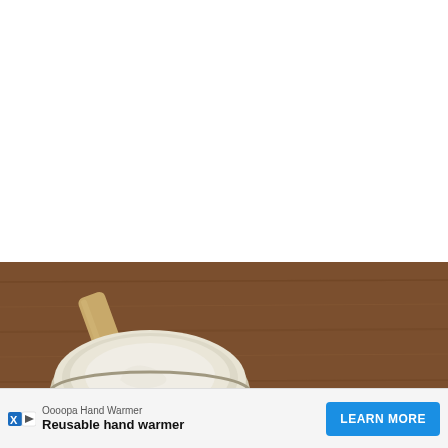CONTINUE READING
[Figure (photo): Overhead view of an open tin of beard balm/pomade with a wooden spatula/applicator on a wooden surface. A dollop of white product sits on the spatula tip. A branded tin lid partially visible at bottom right.]
Oooopa Hand Warmer
Reusable hand warmer
LEARN MORE